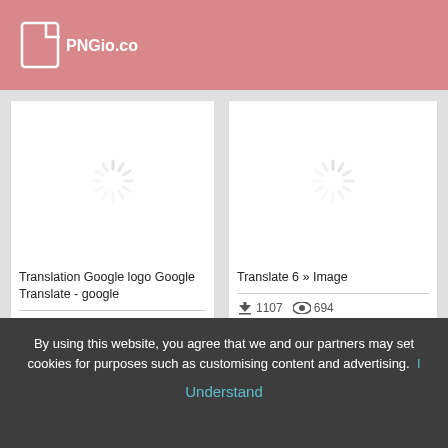PNGio.com
[Figure (screenshot): Loading spinner placeholder for Translation Google logo Google Translate image card]
Translation Google logo Google Translate - google
1056  644
[Figure (screenshot): Loading spinner placeholder for Translate 6 Image card]
Translate 6 » Image
1107  694
By using this website, you agree that we and our partners may set cookies for purposes such as customising content and advertising.  I  Understand